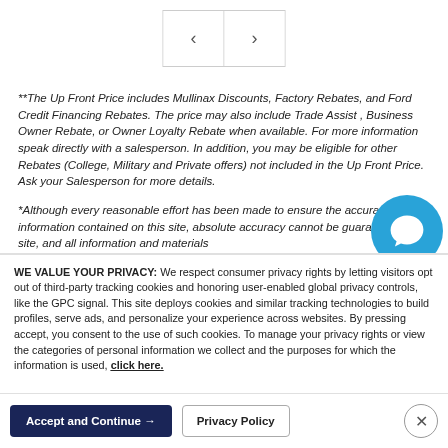[Figure (other): Navigation arrows (back and forward) in a bordered box]
**The Up Front Price includes Mullinax Discounts, Factory Rebates, and Ford Credit Financing Rebates. The price may also include Trade Assist , Business Owner Rebate, or Owner Loyalty Rebate when available. For more information speak directly with a salesperson. In addition, you may be eligible for other Rebates (College, Military and Private offers) not included in the Up Front Price. Ask your Salesperson for more details.
*Although every reasonable effort has been made to ensure the accuracy of the information contained on this site, absolute accuracy cannot be guaranteed. This site, and all information and materials
WE VALUE YOUR PRIVACY: We respect consumer privacy rights by letting visitors opt out of third-party tracking cookies and honoring user-enabled global privacy controls, like the GPC signal. This site deploys cookies and similar tracking technologies to build profiles, serve ads, and personalize your experience across websites. By pressing accept, you consent to the use of such cookies. To manage your privacy rights or view the categories of personal information we collect and the purposes for which the information is used, click here.
Language: English
Powered by ComplyAuto
Accept and Continue →
Privacy Policy